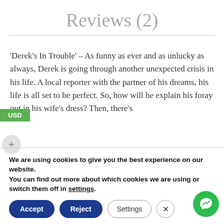Reviews (2)
'Derek's In Trouble' – As funny as ever and as unlucky as always, Derek is going through another unexpected crisis in his life. A local reporter with the partner of his dreams, his life is all set to be perfect. So, how will he explain his foray out in his wife's dress? Then, there's
We are using cookies to give you the best experience on our website.
You can find out more about which cookies we are using or switch them off in settings.